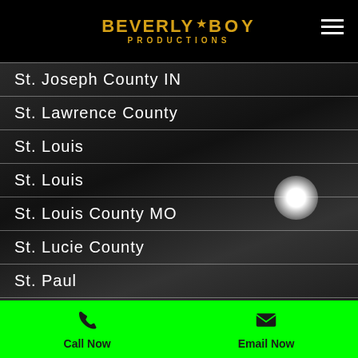Beverly Boy Productions
St. Joseph County IN
St. Lawrence County
St. Louis
St. Louis
St. Louis County MO
St. Lucie County
St. Paul
St. Petersburg
St. Petersburg
Stamford
Call Now | Email Now